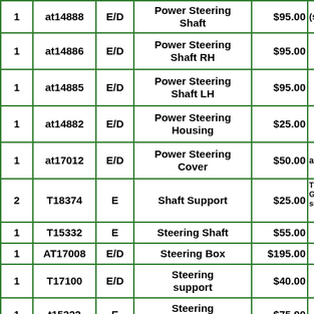| Qty | Part# | Type | Description | Price | Notes |
| --- | --- | --- | --- | --- | --- |
| 1 | at14888 | E/D | Power Steering Shaft | $95.00 | (sh |
| 1 | at14886 | E/D | Power Steering Shaft RH | $95.00 |  |
| 1 | at14885 | E/D | Power Steering Shaft LH | $95.00 |  |
| 1 | at14882 | E/D | Power Steering Housing | $25.00 |  |
| 1 | at17012 | E/D | Power Steering Cover | $50.00 | at1 |
| 2 | T18374 | E | Shaft Support | $25.00 | T18 Ga sn |
| 1 | T15332 | E | Steering Shaft | $55.00 |  |
| 1 | AT17008 | E/D | Steering Box | $195.00 |  |
| 1 | T17100 | E/D | Steering support | $40.00 |  |
| 1 | t15322 | E | Steering Support | $75.00 |  |
| 1 | T12801 | E | Axle Center | $75.00 | sn |
| 1 | t12785 | E | Axle Center | $95.00 |  |